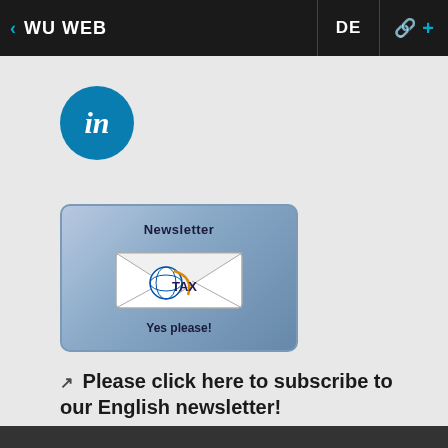< WU WEB  DE  🔗 +
[Figure (logo): LinkedIn 'in' logo — teal circle with white italic 'in' text]
[Figure (illustration): Newsletter subscription button showing an envelope with globe and TAX logo, text 'Newsletter' above and 'Yes please!' below, blue rounded rectangle frame]
Please click here to subscribe to our English newsletter!